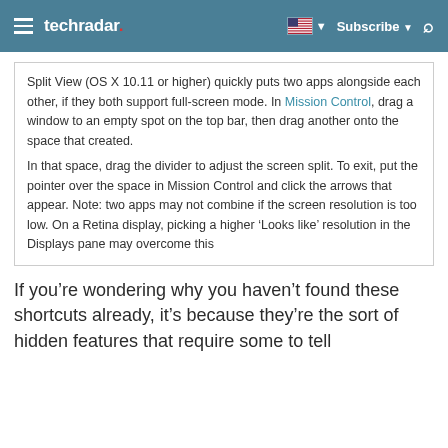techradar
Split View (OS X 10.11 or higher) quickly puts two apps alongside each other, if they both support full-screen mode. In Mission Control, drag a window to an empty spot on the top bar, then drag another onto the space that created.
In that space, drag the divider to adjust the screen split. To exit, put the pointer over the space in Mission Control and click the arrows that appear. Note: two apps may not combine if the screen resolution is too low. On a Retina display, picking a higher ‘Looks like’ resolution in the Displays pane may overcome this
If you’re wondering why you haven’t found these shortcuts already, it’s because they’re the sort of hidden features that require...